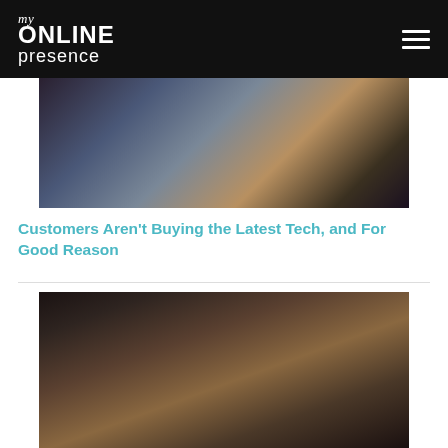my ONLINE presence
[Figure (photo): Two people looking at smartphones, close-up of hands holding phones]
Customers Aren't Buying the Latest Tech, and For Good Reason
[Figure (photo): Man wearing glasses and plaid shirt looking stressed at a laptop, hand on head]